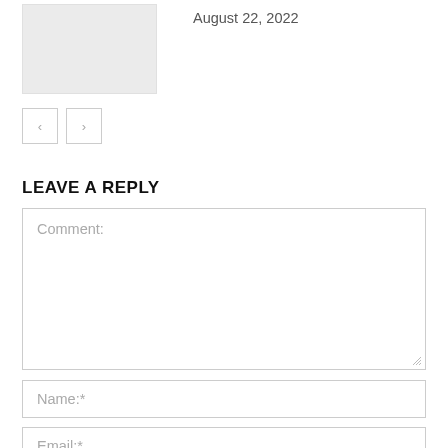[Figure (photo): Thumbnail image placeholder (light gray rectangle)]
August 22, 2022
[Figure (other): Navigation buttons: left arrow and right arrow]
LEAVE A REPLY
Comment:
Name:*
Email:*